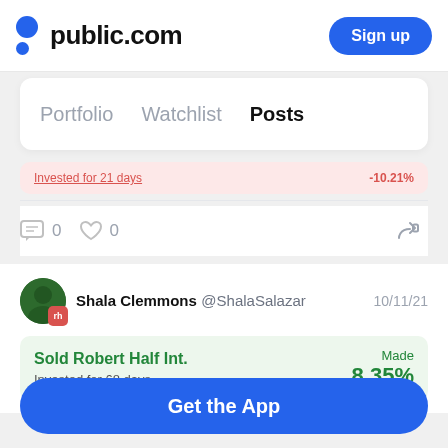public.com  Sign up
Portfolio  Watchlist  Posts
Invested for 21 days
0  0
Shala Clemmons @ShalaSalazar  10/11/21
Sold Robert Half Int.  Invested for 68 days  Made 8.35%
Get the App